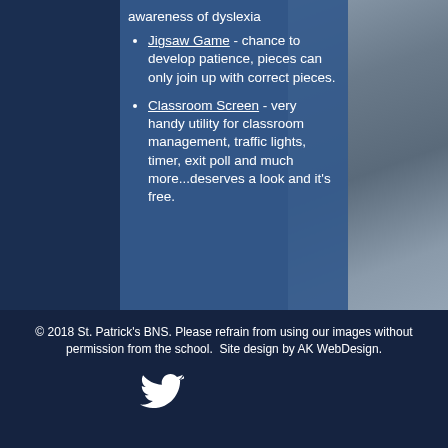awareness of dyslexia
Jigsaw Game - chance to develop patience, pieces can only join up with correct pieces.
Classroom Screen - very handy utility for classroom management, traffic lights, timer, exit poll and much more...deserves a look and it's free.
© 2018 St. Patrick's BNS. Please refrain from using our images without permission from the school.  Site design by AK WebDesign.
[Figure (logo): Twitter bird icon in white]